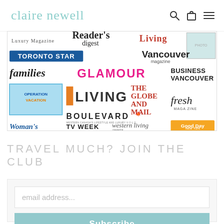claire newell
[Figure (illustration): Media collage showing logos of various publications: Luxury Magazine, Reader's Digest, Living, Toronto Star, Vancouver magazine, families, GLAMOUR, BUSINESS VANCOUVER, Operation Vacation, LIVING, THE GLOBE AND MAIL, fresh MAGAZINE, WOMAN'S, TV WEEK, western living magazine, Good Day New York]
TRAVEL MUCH? JOIN THE CLUB
email address...
Subscribe